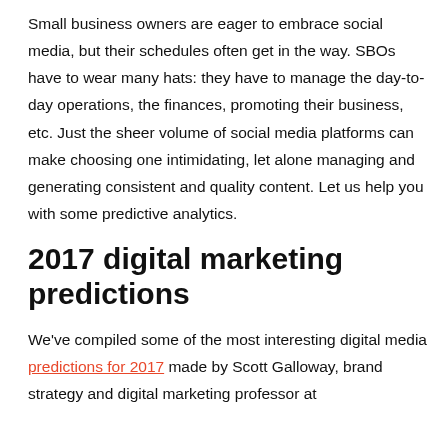Small business owners are eager to embrace social media, but their schedules often get in the way. SBOs have to wear many hats: they have to manage the day-to-day operations, the finances, promoting their business, etc. Just the sheer volume of social media platforms can make choosing one intimidating, let alone managing and generating consistent and quality content. Let us help you with some predictive analytics.
2017 digital marketing predictions
We've compiled some of the most interesting digital media predictions for 2017 made by Scott Galloway, brand strategy and digital marketing professor at